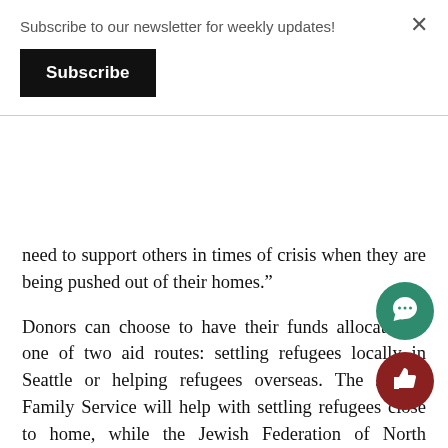Subscribe to our newsletter for weekly updates!
Subscribe
need to support others in times of crisis when they are being pushed out of their homes.”
Donors can choose to have their funds allocated to one of two aid routes: settling refugees locally in Seattle or helping refugees overseas. The Jewish Family Service will help with settling refugees close to home, while the Jewish Federation of North America (JFNA) will be in charge of allocating the funds overseas.
If the $1.2 million goal is not met, then donors will have the option of taking back their mon… If the goal is met, money designated for settli…